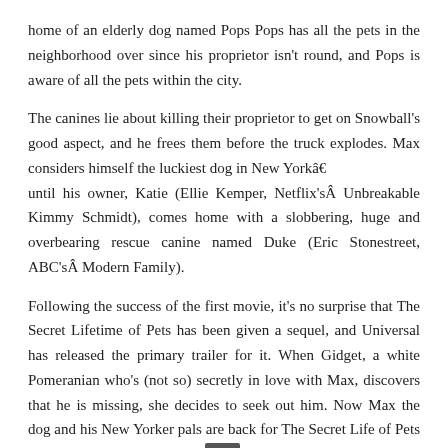home of an elderly dog named Pops Pops has all the pets in the neighborhood over since his proprietor isn't round, and Pops is aware of all the pets within the city.
The canines lie about killing their proprietor to get on Snowball's good aspect, and he frees them before the truck explodes. Max considers himself the luckiest dog in New York€ until his owner, Katie (Ellie Kemper, Netflix's Unbreakable Kimmy Schmidt), comes home with a slobbering, huge and overbearing rescue canine named Duke (Eric Stonestreet, ABC's Modern Family).
Following the success of the first movie, it's no surprise that The Secret Lifetime of Pets has been given a sequel, and Universal has released the primary trailer for it. When Gidget, a white Pomeranian who's (not so) secretly in love with Max, discovers that he is missing, she decides to seek out him. Now Max the dog and his New Yorker pals are back for The Secret Life of Pets 2 , with Patton Oswalt taking over lead-pooch voice duties from Louis C.Okay. Universal in the present day launched the primary trailer for the sequel, and it focuses on a veterinarian's ready room where Max meets some oddball characters.